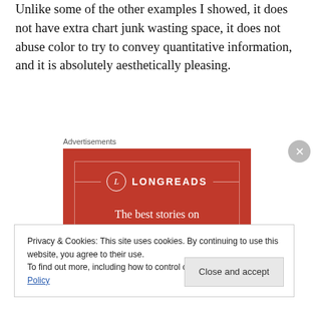Unlike some of the other examples I showed, it does not have extra chart junk wasting space, it does not abuse color to try to convey quantitative information, and it is absolutely aesthetically pleasing.
[Figure (screenshot): Longreads advertisement banner with red background and white serif text reading 'The best stories on the web – ours, and everyone else's.' with the Longreads logo at top.]
Privacy & Cookies: This site uses cookies. By continuing to use this website, you agree to their use.
To find out more, including how to control cookies, see here: Cookie Policy